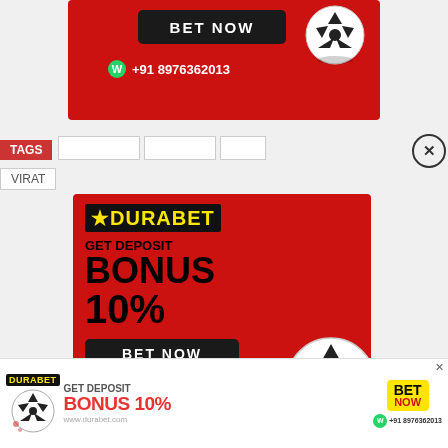[Figure (infographic): Durabet betting advertisement banner at top - red background with BET NOW button and +91 8976362013 phone number with soccer ball]
TAGS
VIRAT
[Figure (infographic): Durabet popup ad - red background, DURABET logo in yellow, GET DEPOSIT BONUS 10%, BET NOW button, +91 8976362013, soccer ball graphic]
[Figure (infographic): Durabet bottom banner - white background, DURABET logo, soccer ball, GET DEPOSIT BONUS 10%, BET NOW button, www.durabet.com, +91 8976362013]